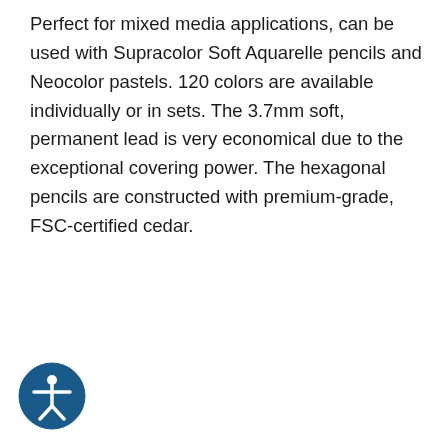Perfect for mixed media applications, can be used with Supracolor Soft Aquarelle pencils and Neocolor pastels. 120 colors are available individually or in sets. The 3.7mm soft, permanent lead is very economical due to the exceptional covering power. The hexagonal pencils are constructed with premium-grade, FSC-certified cedar.
[Figure (other): Orange rounded rectangle button with text 'Shop Now' in white]
[Figure (illustration): Accessibility icon: circular blue badge with white figure of a person with arms outstretched]